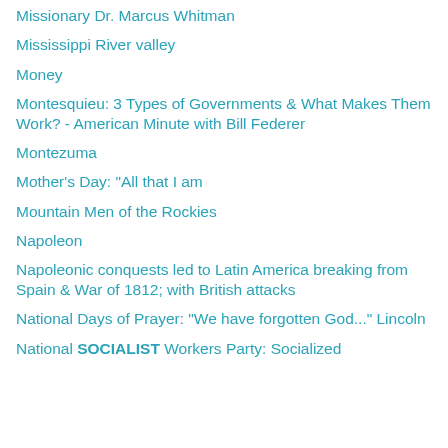Missionary Dr. Marcus Whitman
Mississippi River valley
Money
Montesquieu: 3 Types of Governments & What Makes Them Work? - American Minute with Bill Federer
Montezuma
Mother's Day: "All that I am
Mountain Men of the Rockies
Napoleon
Napoleonic conquests led to Latin America breaking from Spain & War of 1812; with British attacks
National Days of Prayer: "We have forgotten God..." Lincoln
National SOCIALIST Workers Party: Socialized